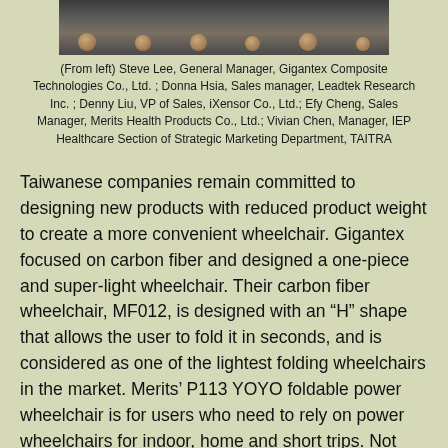[Figure (photo): Cropped photo showing people standing, visible from waist/legs down against a dark striped background]
(From left) Steve Lee, General Manager, Gigantex Composite Technologies Co., Ltd. ; Donna Hsia, Sales manager, Leadtek Research Inc. ; Denny Liu, VP of Sales, iXensor Co., Ltd.; Efy Cheng, Sales Manager, Merits Health Products Co., Ltd.; Vivian Chen, Manager, IEP Healthcare Section of Strategic Marketing Department, TAITRA
Taiwanese companies remain committed to designing new products with reduced product weight to create a more convenient wheelchair. Gigantex focused on carbon fiber and designed a one-piece and super-light wheelchair. Their carbon fiber wheelchair, MF012, is designed with an “H” shape that allows the user to fold it in seconds, and is considered as one of the lightest folding wheelchairs in the market. Merits’ P113 YOYO foldable power wheelchair is for users who need to rely on power wheelchairs for indoor, home and short trips. Not only is it lightweight and foldable, it’s also equipped with a detachable battery box. These features allow users to carry a wheelchair on different kinds of transport vehicles.